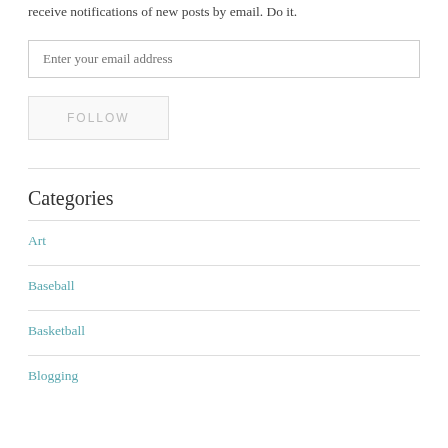receive notifications of new posts by email. Do it.
Enter your email address
FOLLOW
Categories
Art
Baseball
Basketball
Blogging